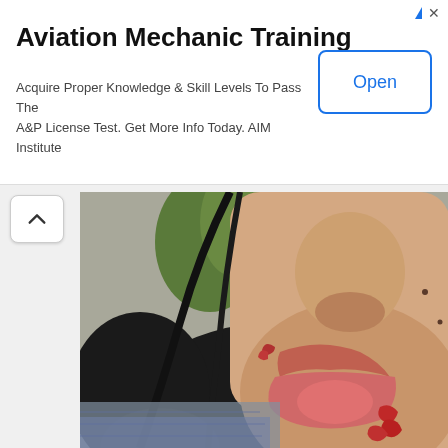[Figure (infographic): Advertisement banner for Aviation Mechanic Training by AIM Institute with Open button]
Aviation Mechanic Training
Acquire Proper Knowledge & Skill Levels To Pass The A&P License Test. Get More Info Today. AIM Institute
[Figure (photo): Close-up photo of a person's face showing lower half, with visible lip injury/laceration and blood marks around the mouth area]